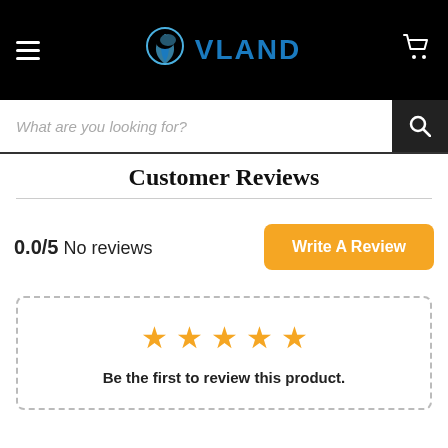[Figure (logo): VLAND logo with wing/moon icon and blue 'VLAND' text on black header bar, with hamburger menu on left and shopping cart icon on right]
What are you looking for?
Customer Reviews
0.0/5 No reviews
Write A Review
[Figure (illustration): Five gold/orange star icons inside a dashed border box]
Be the first to review this product.